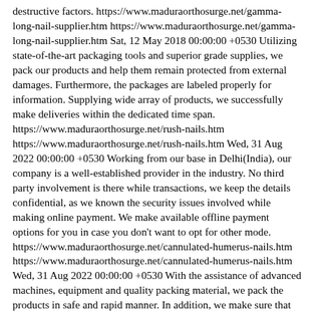destructive factors. https://www.maduraorthosurge.net/gamma-long-nail-supplier.htm https://www.maduraorthosurge.net/gamma-long-nail-supplier.htm Sat, 12 May 2018 00:00:00 +0530 Utilizing state-of-the-art packaging tools and superior grade supplies, we pack our products and help them remain protected from external damages. Furthermore, the packages are labeled properly for information. Supplying wide array of products, we successfully make deliveries within the dedicated time span. https://www.maduraorthosurge.net/rush-nails.htm https://www.maduraorthosurge.net/rush-nails.htm Wed, 31 Aug 2022 00:00:00 +0530 Working from our base in Delhi(India), our company is a well-established provider in the industry. No third party involvement is there while transactions, we keep the details confidential, as we known the security issues involved while making online payment. We make available offline payment options for you in case you don't want to opt for other mode. https://www.maduraorthosurge.net/cannulated-humerus-nails.htm https://www.maduraorthosurge.net/cannulated-humerus-nails.htm Wed, 31 Aug 2022 00:00:00 +0530 With the assistance of advanced machines, equipment and quality packing material, we pack the products in safe and rapid manner. In addition, we make sure that the entire lot is checked before dispatch. We are able to serve patrons in Delhi(India) as well as any other marketplace owing to our resources to deliver the purchasers' Delhi(India) without hassle. https://www.maduraorthosurge.net/solid-humerus-